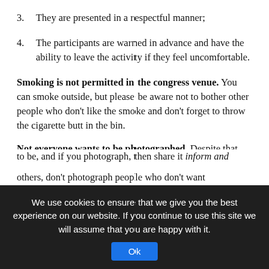3.  They are presented in a respectful manner;
4.  The participants are warned in advance and have the ability to leave the activity if they feel uncomfortable.
Smoking is not permitted in the congress venue. You can smoke outside, but please be aware not to bother other people who don't like the smoke and don't forget to throw the cigarette butt in the bin.
Not everyone wants to be photographed. Despite that, many people take photos during IJK. In order to respect others, don't photograph people who don't want to be...
We use cookies to ensure that we give you the best experience on our website. If you continue to use this site we will assume that you are happy with it.